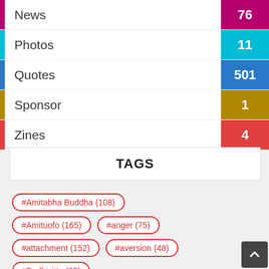News  76
Photos  11
Quotes  501
Sponsor  1
Zines  4
TAGS
#Amitabha Buddha (108)
#Amituofo (165)
#anger (75)
#attachment (152)
#aversion (48)
#Bodhicitta (65)
#Bodhisattva (123)
#Buddha (54)
#Buddha-nature (109)